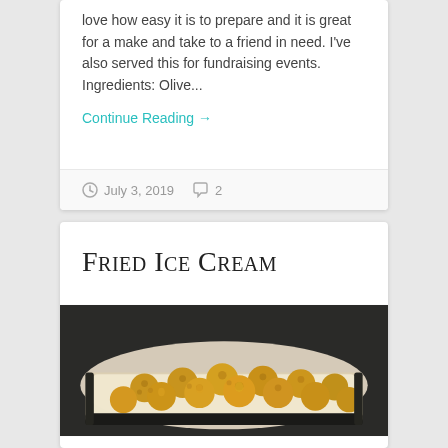love how easy it is to prepare and it is great for a make and take to a friend in need. I've also served this for fundraising events. Ingredients: Olive...
Continue Reading →
July 3, 2019   2
Fried Ice Cream
[Figure (photo): A tray of golden-brown fried ice cream balls coated in breadcrumbs, arranged on white parchment paper in a dark serving tray]